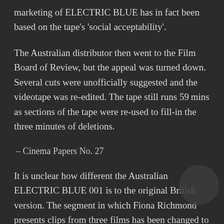marketing of ELECTRIC BLUE has in fact been based on the tape's 'social acceptability'.
The Australian distributor then went to the Film Board of Review, but the appeal was turned down. Several cuts were unofficially suggested and the videotape was re-edited. The tape still runs 59mins as sections of the tape were re-used to fill-in the three minutes of deletions.
– Cinema Papers No. 27
It is unclear how different the Australian ELECTRIC BLUE 001 is to the original British version. The segment in which Fiona Richmond presents clips from three films has been changed to show trailers for the Video Classics releases of CASE OF THE SMILING STIFFS (1973), FANTASM (1976), and THE STUD (1978).